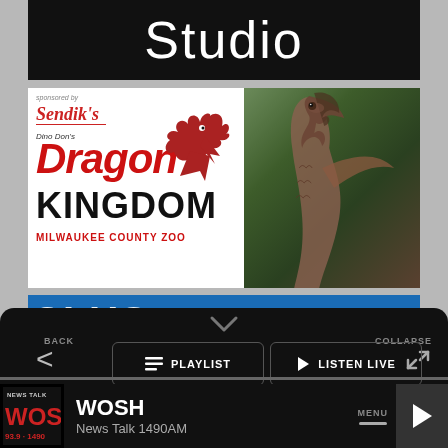Studio
[Figure (advertisement): Dragon Kingdom Milwaukee County Zoo advertisement sponsored by Sendik's, showing dragon logo and dinosaur photo]
[Figure (screenshot): Partial blue banner with white text visible at bottom]
[Figure (screenshot): Mobile app media player drawer showing PLAYLIST, LISTEN LIVE, CONTROLS buttons with BACK and COLLAPSE controls, and WOSH News Talk 1490AM station info at bottom with MENU and play button]